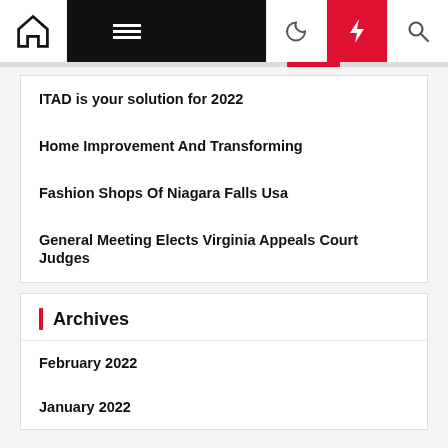Navigation bar with home icon, hamburger menu, moon icon, lightning/flash icon, search icon
ITAD is your solution for 2022
Home Improvement And Transforming
Fashion Shops Of Niagara Falls Usa
General Meeting Elects Virginia Appeals Court Judges
Archives
February 2022
January 2022